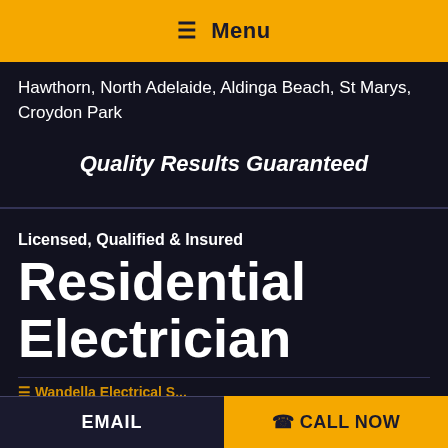☰ Menu
Hawthorn, North Adelaide, Aldinga Beach, St Marys, Croydon Park
Quality Results Guaranteed
Licensed, Qualified & Insured
Residential Electrician
Wandella Electrical S...
EMAIL | ☎ CALL NOW